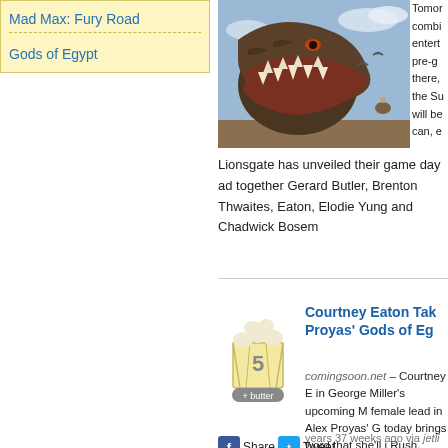Mad Max: Fury Road
Gods of Egypt
[Figure (photo): A large dinosaur or monster with open jaws against a sky background, from the Gods of Egypt movie]
Lionsgate has unveiled their game day ad together Gerard Butler, Brenton Thwaites, Eaton, Elodie Yung and Chadwick Bosem
Courtney Eaton Tak Proyas' Gods of Eg
comingsoon.net – Courtney E in George Miller's upcoming M female lead in Alex Proyas' G today brings word that she'll j Rush, Gerard Butler and Bren
years 37 weeks ago via jetli
Share  Tweet